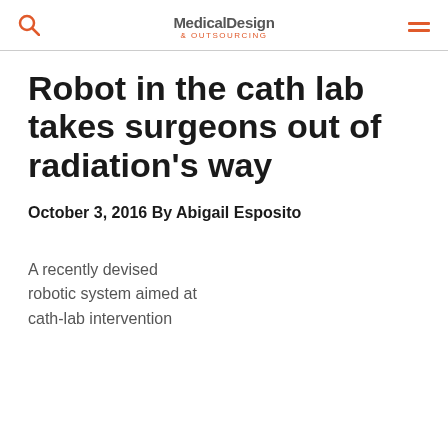Medical Design & Outsourcing
Robot in the cath lab takes surgeons out of radiation's way
October 3, 2016 By Abigail Esposito
A recently devised robotic system aimed at cath-lab intervention